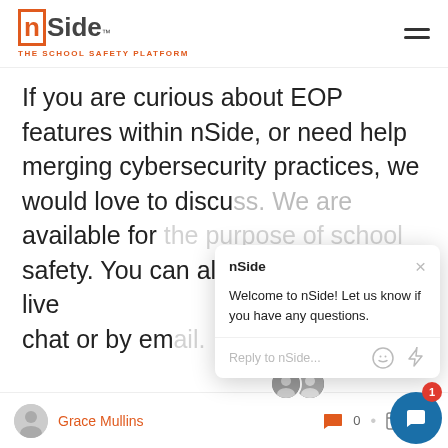[Figure (logo): nSide logo with orange border around 'n', text 'Side' in dark gray, trademark symbol, tagline 'THE SCHOOL SAFETY PLATFORM' in orange]
If you are curious about EOP features within nSide, or need help merging cybersecurity practices, we would love to discuss. We are available for the purpose of school safety. You can always reach us via live chat or by em...
[Figure (screenshot): Chat popup widget from nSide saying 'Welcome to nSide! Let us know if you have any questions.' with a reply input field, emoji and attachment icons, and a close button.]
Grace Mullins
[Figure (other): Chat widget button (dark blue circle) with notification badge showing '1']